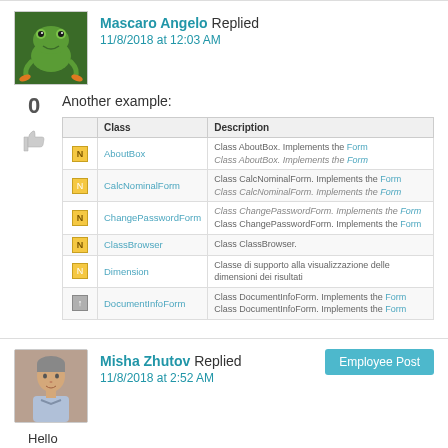Mascaro Angelo Replied
11/8/2018 at 12:03 AM
Another example:
|  | Class | Description |
| --- | --- | --- |
|  | AboutBox | Class AboutBox. Implements the Form
Class AboutBox. Implements the Form |
|  | CalcNominalForm | Class CalcNominalForm. Implements the Form
Class CalcNominalForm. Implements the Form |
|  | ChangePasswordForm | Class ChangePasswordForm. Implements the Form
Class ChangePasswordForm. Implements the Form |
|  | ClassBrowser | Class ClassBrowser. |
|  | Dimension | Classe di supporto alla visualizzazione delle dimensioni dei risultati |
|  | DocumentInfoForm | Class DocumentInfoForm. Implements the Form
Class DocumentInfoForm. Implements the Form |
Misha Zhutov Replied
11/8/2018 at 2:52 AM
Employee Post
Hello